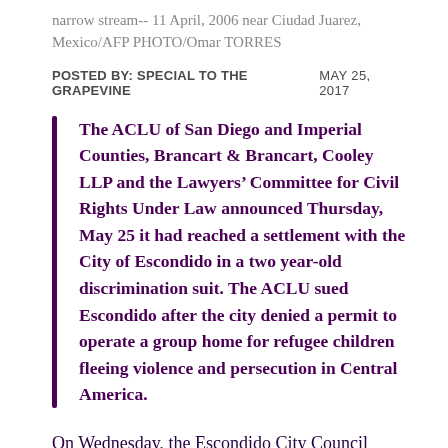narrow stream-- 11 April, 2006 near Ciudad Juarez, Mexico/AFP PHOTO/Omar TORRES
POSTED BY: SPECIAL TO THE GRAPEVINE    MAY 25, 2017
The ACLU of San Diego and Imperial Counties, Brancart & Brancart, Cooley LLP and the Lawyers’ Committee for Civil Rights Under Law announced Thursday, May 25 it had reached a settlement with the City of Escondido in a two year-old discrimination suit. The ACLU sued Escondido after the city denied a permit to operate a group home for refugee children fleeing violence and persecution in Central America.
On Wednesday, the Escondido City Council met in